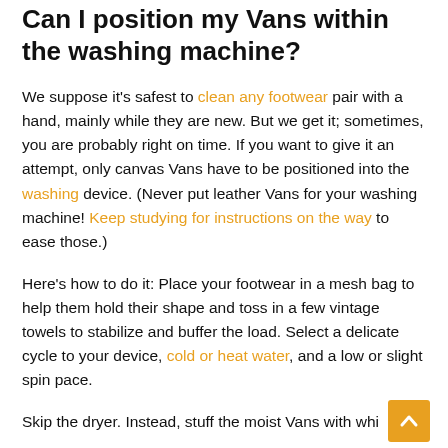Can I position my Vans within the washing machine?
We suppose it's safest to clean any footwear pair with a hand, mainly while they are new. But we get it; sometimes, you are probably right on time. If you want to give it an attempt, only canvas Vans have to be positioned into the washing device. (Never put leather Vans for your washing machine! Keep studying for instructions on the way to ease those.)
Here's how to do it: Place your footwear in a mesh bag to help them hold their shape and toss in a few vintage towels to stabilize and buffer the load. Select a delicate cycle to your device, cold or heat water, and a low or slight spin pace.
Skip the dryer. Instead, stuff the moist Vans with white...